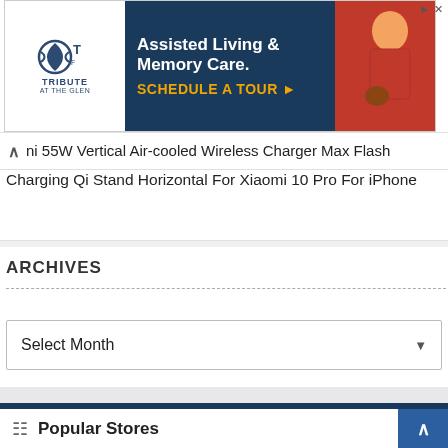[Figure (screenshot): Advertisement banner for Tribute at the Glen — Assisted Living & Memory Care. Schedule a Tour. Shows logo on left, dark navy background with text in center, and photo of elderly woman with dog on right.]
ni 55W Vertical Air-cooled Wireless Charger Max Flash Charging Qi Stand Horizontal For Xiaomi 10 Pro For iPhone
ARCHIVES
Select Month
Popular Stores